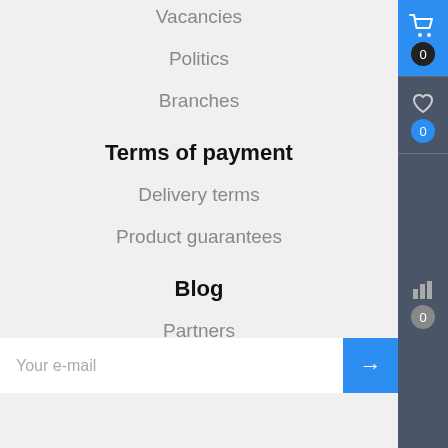Vacancies
Politics
Branches
Terms of payment
Delivery terms
Product guarantees
Blog
Partners
Be always up to date!
Your e-mail